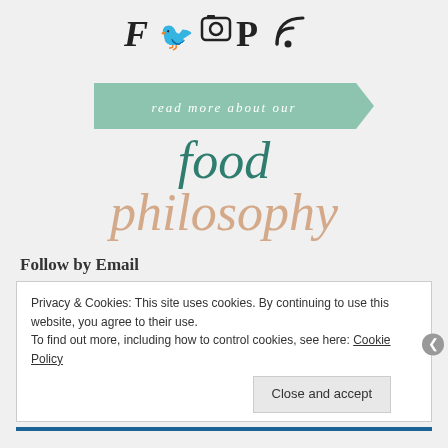[Figure (other): Social media icons row: F (Facebook), bird (Twitter), camera (Instagram), P (Pinterest), RSS feed icon]
[Figure (other): Green ribbon banner with text 'read more about our']
food philosophy
Follow by Email
Privacy & Cookies: This site uses cookies. By continuing to use this website, you agree to their use.
To find out more, including how to control cookies, see here: Cookie Policy
Close and accept